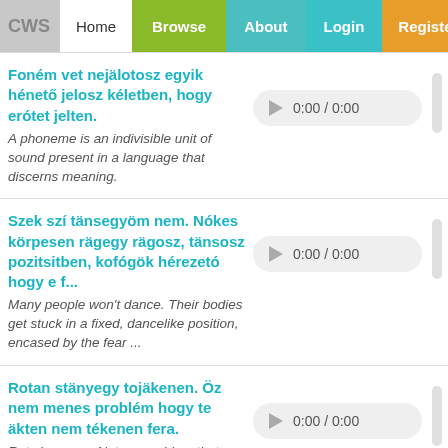CWS | Home | Browse | About | Login | Register | ?
Foném vet nejälotosz egyik hénető jelosz kéletben, hogy erótet jelten.
A phoneme is an indivisible unit of sound present in a language that discerns meaning.
Szek szí tänsegyöm nem. Nókes körpesen rägegy rägosz, tänsosz pozitsitben, kofógök hérezetó hogy e f...
Many people won't dance. Their bodies get stuck in a fixed, dancelike position, encased by the fear ...
Rotan stänyegy tojäkenen. Öz nem menes problém hogy te äkten nem tékenen fera.
Rats lay eggs. Not my problem that you don't want to face the facts.
Idekök kisek älkoholen e hólma mit te sänen bär kéletben.
I've had too much to drink to care about what you're saying in any language.